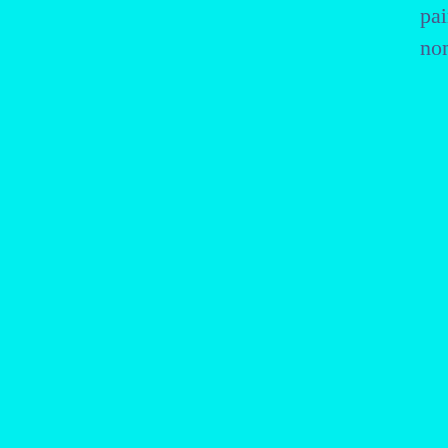pain, affliction nor despair arise in him. This is non-agitation through non-clinging.
[Figure (illustration): Broken/missing image placeholder for 'Five Skandhas of Buddhism Explained | Five aggregates of Buddhism' with a vertical line below the placeholder icon]